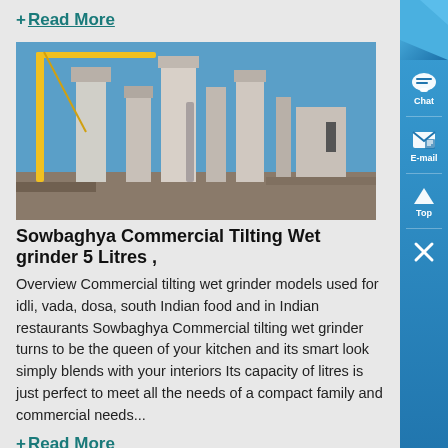+ Read More
[Figure (photo): Industrial wet grinder machinery with silos and crane against blue sky]
Sowbaghya Commercial Tilting Wet grinder 5 Litres ,
Overview Commercial tilting wet grinder models used for idli, vada, dosa, south Indian food and in Indian restaurants Sowbaghya Commercial tilting wet grinder turns to be the queen of your kitchen and its smart look simply blends with your interiors Its capacity of litres is just perfect to meet all the needs of a compact family and commercial needs...
+ Read More
[Figure (photo): Another product image partially visible at bottom]